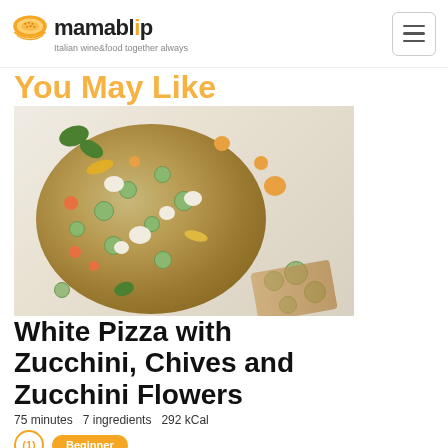mamablip — Italian wine&food together always
You May Like
[Figure (photo): Overhead photo of a white pizza topped with zucchini slices, zucchini flowers, cherry tomatoes, and cheese, surrounded by ingredients on a white surface]
White Pizza with Zucchini, Chives and Zucchini Flowers
75 minutes 7 ingredients 292 kCal
Beginner